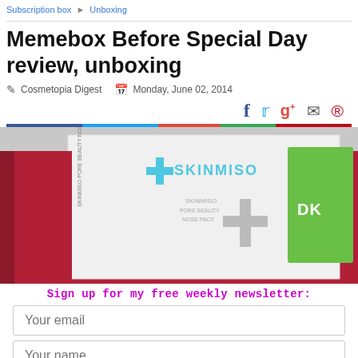Subscription box > Unboxing
Memebox Before Special Day review, unboxing
Cosmetopia Digest   Monday, June 02, 2014
[Figure (other): Social share icons row: Facebook, Twitter, Google+, Email, Pinterest with a multicolor divider bar below]
[Figure (photo): Unboxing photo showing a Skinmiso product box (white with blue cross logo and text SKINMISO) and a green DK branded box inside a red-lined subscription box]
Sign up for my free weekly newsletter:
Your email
Your name
Subscribe!